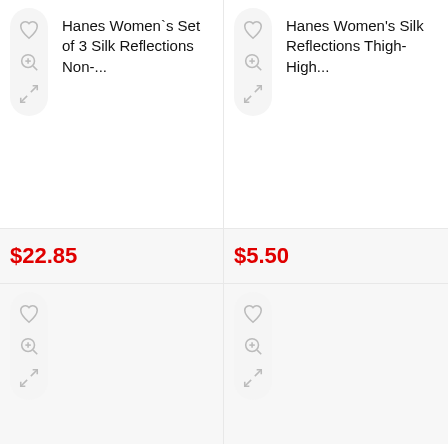Hanes Women`s Set of 3 Silk Reflections Non-...
$22.85
Hanes Women's Silk Reflections Thigh-High...
$5.50